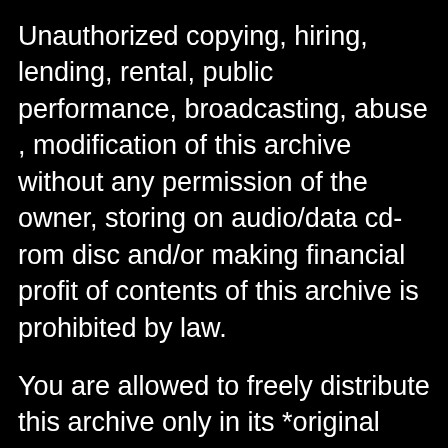Unauthorized copying, hiring, lending, rental, public performance, broadcasting, abuse , modification of this archive without any permission of the owner, storing on audio/data cd-rom disc and/or making financial profit of contents of this archive is prohibited by law.
You are allowed to freely distribute this archive only in its *original form* via electronic networks, electronic bulletin board systems or any other noncommercial means of duplication between computer systems.
If you wish to include this or any other Fridge